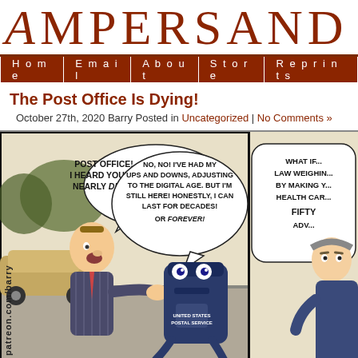AMPERSAND
Home | Email | About | Store | Reprints
The Post Office Is Dying!
October 27th, 2020 Barry Posted in Uncategorized | No Comments »
[Figure (illustration): A three-panel comic strip showing a man talking to an anthropomorphic USPS mailbox. Panel 1: Man says 'POST OFFICE! I HEARD YOU'RE NEARLY DEAD!' Panel 2: Mailbox replies 'NO, NO! I'VE HAD MY UPS AND DOWNS, ADJUSTING TO THE DIGITAL AGE. BUT I'M STILL HERE! HONESTLY, I CAN LAST FOR DECADES! OR FOREVER!' Panel 3: Another character says 'WHAT IF... LAW WEIGHIN... BY MAKING Y... HEALTH CAR... FIFTY... ADV...' (partially cut off). Patreon.com/barry watermark on left side.]